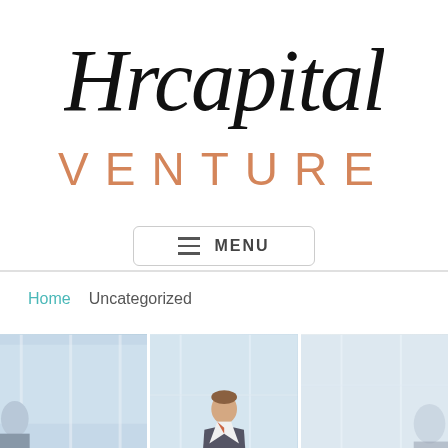[Figure (logo): Hrcapital Venture logo — handwritten script 'Hrcapital' in black above 'VENTURE' in large orange/salmon spaced uppercase letters]
[Figure (other): Menu button with hamburger icon (three horizontal lines) and text 'MENU' inside a rounded rectangle border]
Home   Uncategorized
[Figure (photo): Partial photo of business people in an office with glass walls, a man in suit visible in center panel]